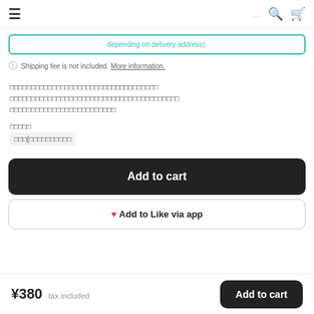≡  □□□□□□□□□□□□ □□□□□□□□□□□□□□□□ □□□□...  🔍  🛒
depending on delivery address).
ℹ Shipping fee is not included. More information.
□□□□□□□□□□□□□□□□□□□□□□□□□□□□□□□□□□□□□□□□□□□□□□□□□□□□□□□□□□□□□□□□□□□□□□□□□□□□□□□□□□□□□□□
□□□□□
□□□□(□□□□□□□□□□□
Add to cart
♥ Add to Like via app
¥380 tax included  Add to cart